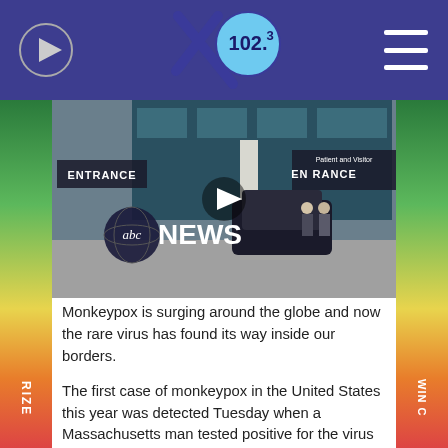X 102.3
[Figure (screenshot): ABC News video thumbnail showing a hospital entrance with people outside. Play button in center. ABC NEWS logo visible.]
Monkeypox is surging around the globe and now the rare virus has found its way inside our borders.
The first case of monkeypox in the United States this year was detected Tuesday when a Massachusetts man tested positive for the virus ... according to health officials.
The man recently traveled to Canada, according to the Massachusetts Department of Public Health, and